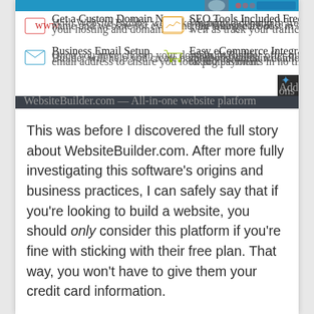[Figure (screenshot): Screenshot of WebsiteBuilder.com features page showing: Get a Custom Domain Name, SEO Tools Included Free, Business Email Setup, Easy eCommerce Integration icons and descriptions, with a dark bottom bar and Dropbox overlay icon.]
This was before I discovered the full story about WebsiteBuilder.com. After more fully investigating this software's origins and business practices, I can safely say that if you're looking to build a website, you should only consider this platform if you're fine with sticking with their free plan. That way, you won't have to give them your credit card information.